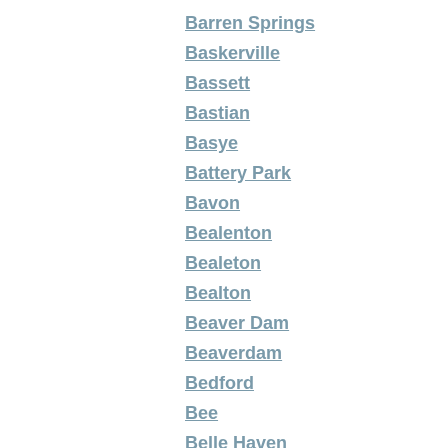Barren Springs
Baskerville
Bassett
Bastian
Basye
Battery Park
Bavon
Bealenton
Bealeton
Bealton
Beaver Dam
Beaverdam
Bedford
Bee
Belle Haven
Bellehaven